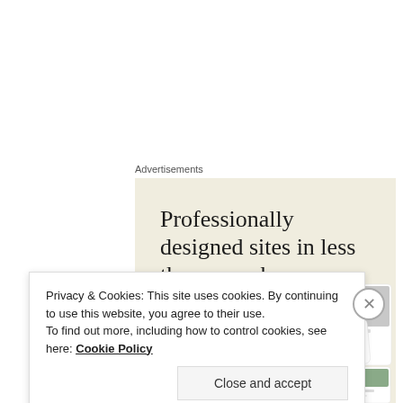Advertisements
[Figure (screenshot): Advertisement banner with beige background showing 'Professionally designed sites in less than a week' headline, a green 'Explore options' button, and mockup screenshots of websites on the right side.]
Privacy & Cookies: This site uses cookies. By continuing to use this website, you agree to their use.
To find out more, including how to control cookies, see here: Cookie Policy
Close and accept